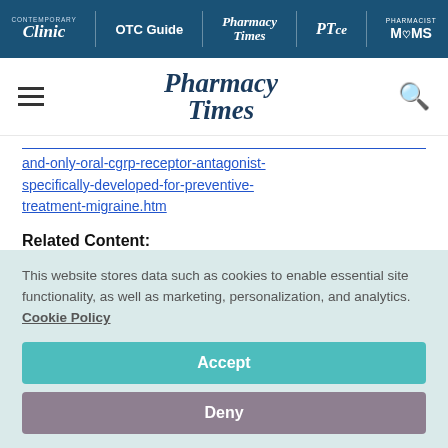Clinic | OTC Guide | Pharmacy Times | PTce | Pharmacist MOMS
[Figure (logo): Pharmacy Times logo with hamburger menu and search icon]
and-only-oral-cgrp-receptor-antagonist-specifically-developed-for-preventive-treatment-migraine.htm
Related Content:
This website stores data such as cookies to enable essential site functionality, as well as marketing, personalization, and analytics. Cookie Policy
Accept
Deny